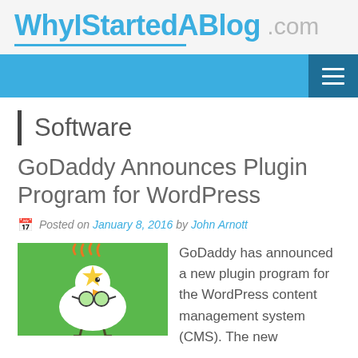WhyIStartedABlog.com
Software
GoDaddy Announces Plugin Program for WordPress
Posted on January 8, 2016 by John Arnott
[Figure (illustration): GoDaddy logo with cartoon chicken on green background]
GoDaddy has announced a new plugin program for the WordPress content management system (CMS). The new